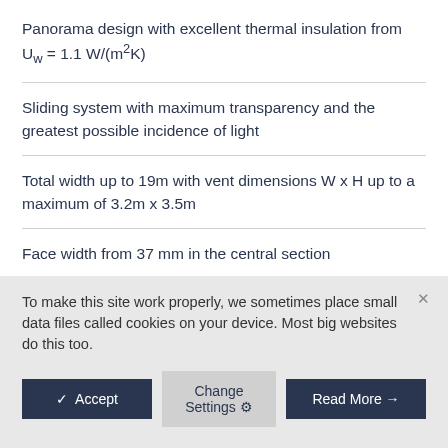Panorama design with excellent thermal insulation from Uw = 1.1 W/(m²K)
Sliding system with maximum transparency and the greatest possible incidence of light
Total width up to 19m with vent dimensions W x H up to a maximum of 3.2m x 3.5m
Face width from 37 mm in the central section
Vent weights up to 500 kg
To make this site work properly, we sometimes place small data files called cookies on your device. Most big websites do this too.